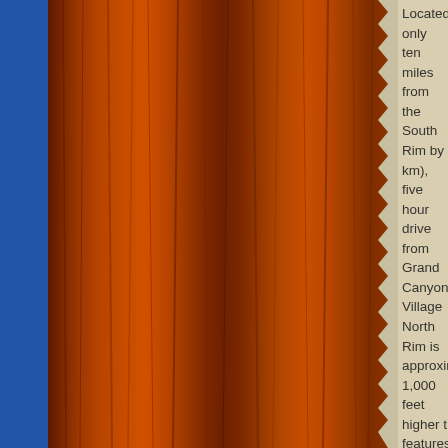[Figure (photo): Wood grain texture photo in dark reddish-brown tones occupying the left portion of the page, with a blue sidebar on the far left]
Located only ten miles from the South Rim by km), five hour drive from Grand Canyon Village North Rim is approximately 1,000 feet higher t features more coniferous trees and cooler tem are open only during the summer (from approx while the in-park facilities usually close by Oct With far fewer visitors, this area can be a grea majesty of the canyon. The main viewpoints ar (where the Colorado River can be seen), and P in the park).
Hiking
Going on a hike is wonderful way to experience beauty and immense size. However, even if yo Canyon is very different from most other hiking Canyon will test your physical and mental endu limitations. Moderation is the key to an enjoyab
Many options are available for day hikers. Bot offer rim trail hikes that have spectacular views trails. Or you can choose to day hike into the c non-commercial day hikes.
Rim Trail - The Rim Trail extends from the vill any viewpoint in the village or along Hermit Ro and quiet views of the inner canyon for visitors
Grandview Trail (Very Steep) - The Grandvie Saddle, 2.2 miles (round trip), and Horseshoe